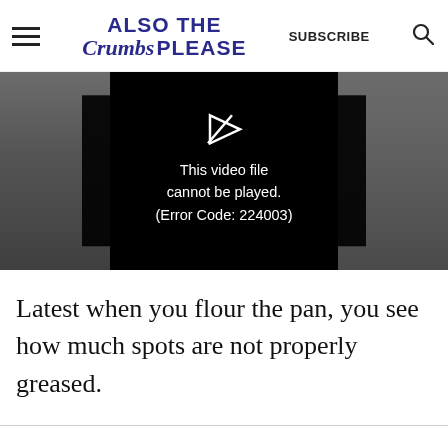ALSO THE Crumbs PLEASE | SUBSCRIBE
[Figure (screenshot): Video player showing error message: 'This video file cannot be played. (Error Code: 224003)' with a broken video icon on a black background, with a baking pan image partially visible on sides.]
Latest when you flour the pan, you see how much spots are not properly greased.